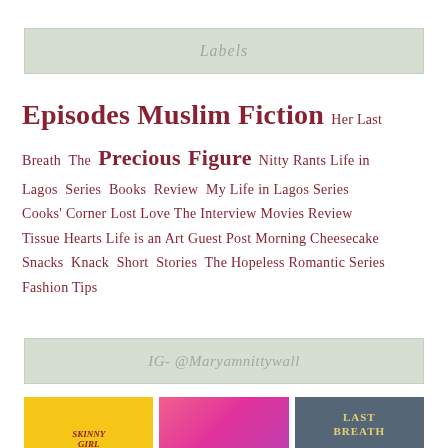Labels
Episodes Muslim Fiction Her Last Breath The Precious Figure Nitty Rants Life in Lagos Series Books Review My Life in Lagos Series Cooks' Corner Lost Love The Interview Movies Review Tissue Hearts Life is an Art Guest Post Morning Cheesecake Snacks Knack Short Stories The Hopeless Romantic Series Fashion Tips
IG- @Maryamnittywall
[Figure (photo): Three thumbnail images in a row: yellow background with Skinny Girl text, pink/colorful garment, dark background with LAST BREATH text in yellow]